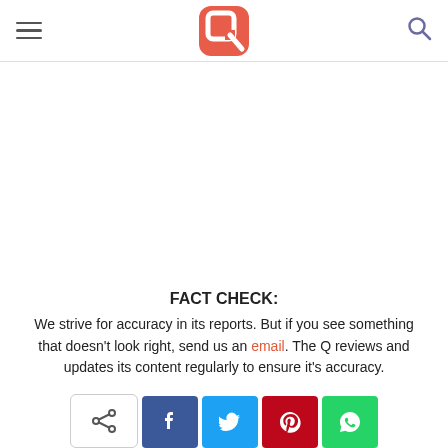The Q logo with hamburger menu and search icon
FACT CHECK: We strive for accuracy in its reports. But if you see something that doesn't look right, send us an email. The Q reviews and updates its content regularly to ensure it's accuracy.
[Figure (other): Social share buttons: share/native, Facebook, Twitter, Pinterest, WhatsApp]